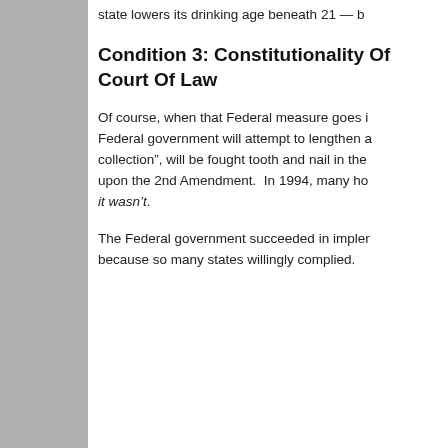state lowers its drinking age beneath 21 — b
Condition 3: Constitutionality Of
Court Of Law
Of course, when that Federal measure goes i Federal government will attempt to lengthen a collection", will be fought tooth and nail in the upon the 2nd Amendment.  In 1994, many ho it wasn't.
The Federal government succeeded in imple because so many states willingly complied.